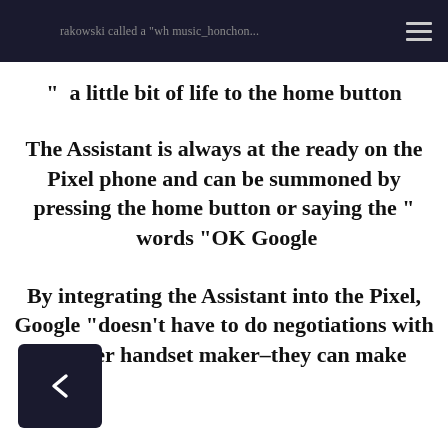rakowski called a "wh music_honchon...
“ a little bit of life to the home button
The Assistant is always at the ready on the Pixel phone and can be summoned by pressing the home button or saying the “ words “OK Google
By integrating the Assistant into the Pixel, Google “doesn’t have to do negotiations with another handset maker–they can make